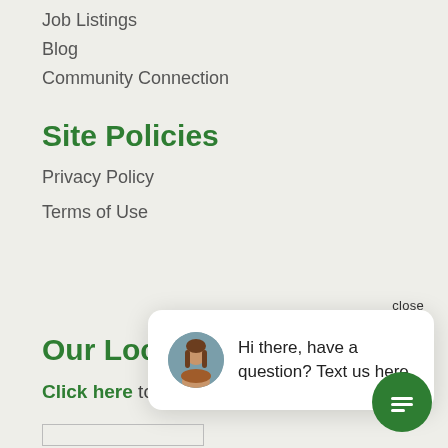Job Listings
Blog
Community Connection
Site Policies
Privacy Policy
Terms of Use
close
[Figure (photo): Chat popup with avatar photo of a woman with long brown hair and message: Hi there, have a question? Text us here.]
Our Loca
Click here to view store locations
[Figure (illustration): Green circular chat button with message lines icon]